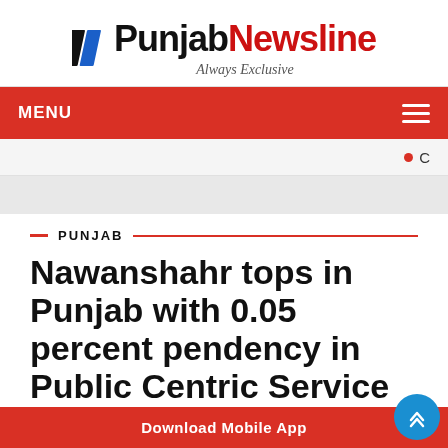[Figure (logo): Punjab Newsline logo with two diagonal bars (black and blue) and red/black text 'PunjabNewsline', tagline 'Always Exclusive' in italic gray]
MENU
• C
PUNJAB
Nawanshahr tops in Punjab with 0.05 percent pendency in Public Centric Service
Download Mobile App